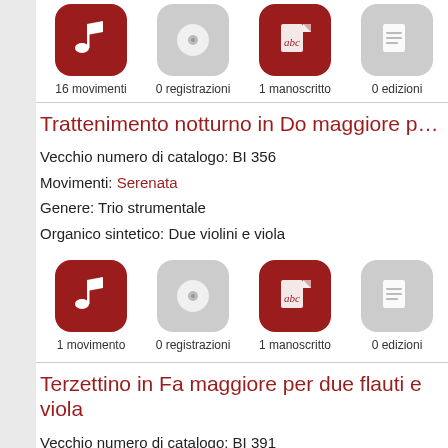[Figure (infographic): Icon row: 16 movimenti (red music note), 0 registrazioni (gray disc), 1 manoscritto (red abc document), 0 edizioni (gray document)]
Trattenimento notturno in Do maggiore per due vio…
Vecchio numero di catalogo: BI 356
Movimenti: Serenata
Genere: Trio strumentale
Organico sintetico: Due violini e viola
[Figure (infographic): Icon row: 1 movimento (red music note), 0 registrazioni (gray disc), 1 manoscritto (red abc document), 0 edizioni (gray document)]
Terzettino in Fa maggiore per due flauti e viola
Vecchio numero di catalogo: BI 391
Movimenti: Andantino / Allegro